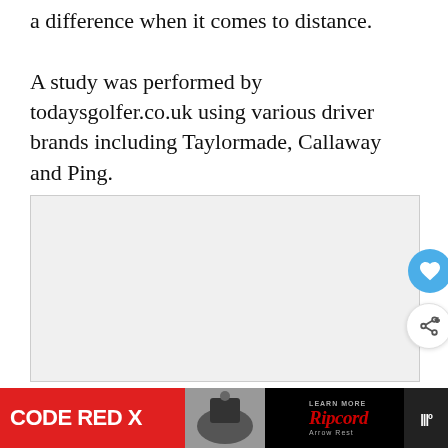a difference when it comes to distance.

A study was performed by todaysgolfer.co.uk using various driver brands including Taylormade, Callaway and Ping.
[Figure (photo): An image placeholder area (light gray box) with UI overlay elements: a blue heart/like button, a white share button with a share icon, a 'What's Next' card showing a thumbnail and text 'Shipping Golf Clubs To...', and three navigation dots below.]
[Figure (infographic): Advertisement banner at the bottom: black background with red section reading 'CODE RED X', product image in center, and 'Ripcord' branding in red italic text with 'Arrow Rest' subtitle and 'LEARN MORE' button.]